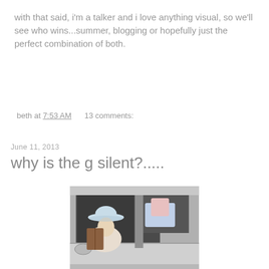with that said, i'm a talker and i love anything visual, so we'll see who wins...summer, blogging or hopefully just the perfect combination of both.
beth at 7:53 AM    13 comments:
June 11, 2013
why is the g silent?.....
[Figure (photo): Elderly woman wearing a light blue hat sitting in the driver seat of a silver car, viewed through the open window, with items visible in the back seat.]